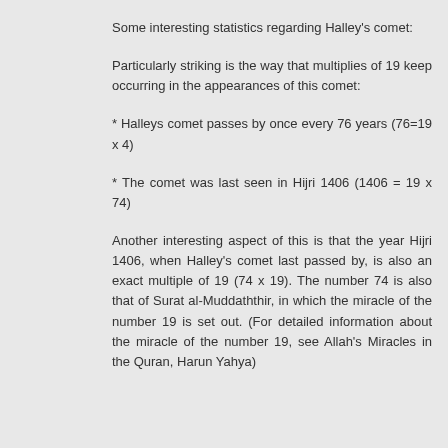Some interesting statistics regarding Halley's comet:
Particularly striking is the way that multiplies of 19 keep occurring in the appearances of this comet:
* Halleys comet passes by once every 76 years (76=19 x 4)
* The comet was last seen in Hijri 1406 (1406 = 19 x 74)
Another interesting aspect of this is that the year Hijri 1406, when Halley's comet last passed by, is also an exact multiple of 19 (74 x 19). The number 74 is also that of Surat al-Muddaththir, in which the miracle of the number 19 is set out. (For detailed information about the miracle of the number 19, see Allah's Miracles in the Quran, Harun Yahya)